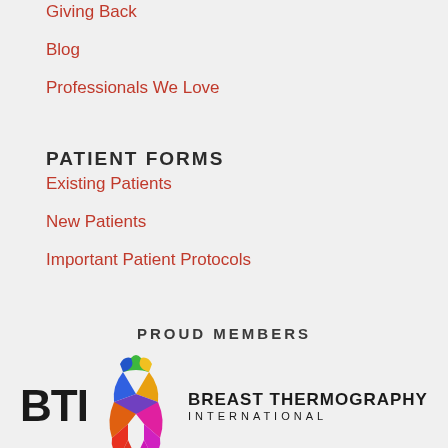Giving Back
Blog
Professionals We Love
PATIENT FORMS
Existing Patients
New Patients
Important Patient Protocols
PROUD MEMBERS
[Figure (logo): BTI Breast Thermography International logo with colorful ribbon and bold BTI text]